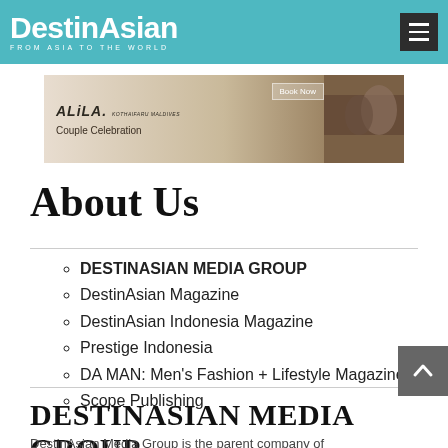DestinAsian — FROM ASIA TO THE WORLD
[Figure (screenshot): ALiLA Kothaifaru Maldives Couple Celebration advertisement banner with Book Now button and couple photograph]
About Us
DESTINASIAN MEDIA GROUP
DestinAsian Magazine
DestinAsian Indonesia Magazine
Prestige Indonesia
DA MAN: Men's Fashion + Lifestyle Magazine
Scope Publishing
DESTINASIAN MEDIA GROUP
DestinAsian Media Group is the parent company of